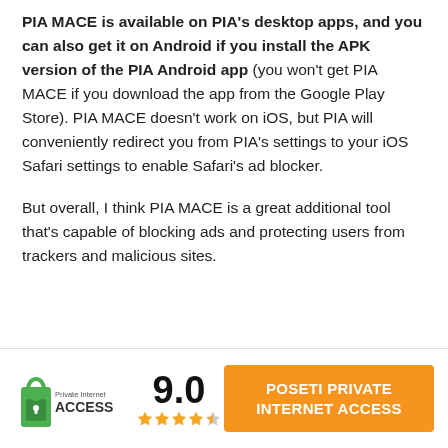PIA MACE is available on PIA's desktop apps, and you can also get it on Android if you install the APK version of the PIA Android app (you won't get PIA MACE if you download the app from the Google Play Store). PIA MACE doesn't work on iOS, but PIA will conveniently redirect you from PIA's settings to your iOS Safari settings to enable Safari's ad blocker.
But overall, I think PIA MACE is a great additional tool that's capable of blocking ads and protecting users from trackers and malicious sites.
[Figure (logo): Private Internet Access logo with green padlock icon and text 'Private Internet ACCESS']
9.0
[Figure (other): 4.5 star rating shown with 4 filled gold stars and 1 half-filled grey star]
POSETI PRIVATE INTERNET ACCESS